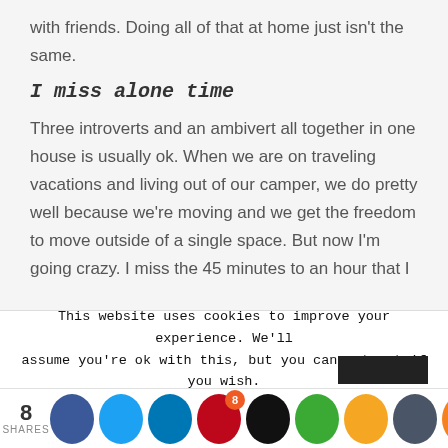with friends. Doing all of that at home just isn't the same.
I miss alone time
Three introverts and an ambivert all together in one house is usually ok. When we are on traveling vacations and living out of our camper, we do pretty well because we're moving and we get the freedom to move outside of a single space. But now I'm going crazy. I miss the 45 minutes to an hour that I
This website uses cookies to improve your experience. We'll assume you're ok with this, but you can opt-out if you wish.
8 SHARES